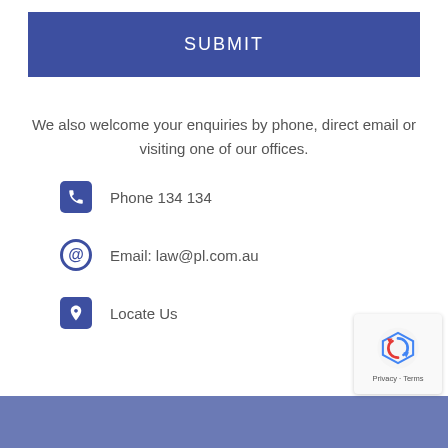SUBMIT
We also welcome your enquiries by phone, direct email or visiting one of our offices.
Phone 134 134
Email: law@pl.com.au
Locate Us